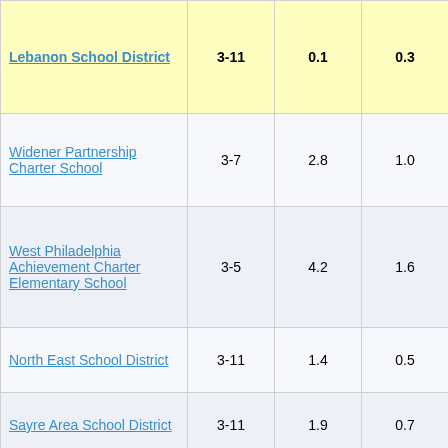| School/District | Grades | Col3 | Col4 | Score |
| --- | --- | --- | --- | --- |
| Lebanon School District | 3-11 | 0.1 | 0.3 | 0.17 |
| Widener Partnership Charter School | 3-7 | 2.8 | 1.0 | 2.65 |
| West Philadelphia Achievement Charter Elementary School | 3-5 | 4.2 | 1.6 | 2.63 |
| North East School District | 3-11 | 1.4 | 0.5 | 2.61 |
| Sayre Area School District | 3-11 | 1.9 | 0.7 | 2.58 |
| Wilkinsburg Borough School District | 3-6 | 3.5 | 1.4 | 2.53 |
| Wyalusing Area | 3-10 | 1.1 | 0.1 | 2.51 |